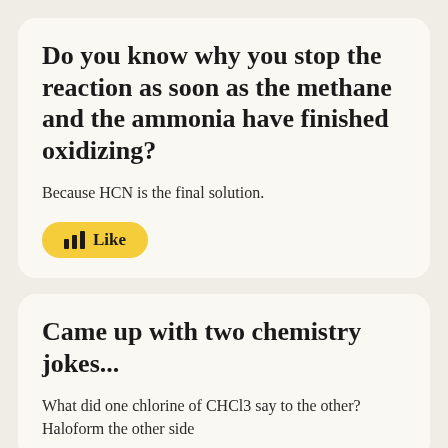Do you know why you stop the reaction as soon as the methane and the ammonia have finished oxidizing?
Because HCN is the final solution.
[Figure (other): Yellow rounded Like button with bar-chart icon]
Came up with two chemistry jokes...
What did one chlorine of CHCl3 say to the other?
Haloform the other side